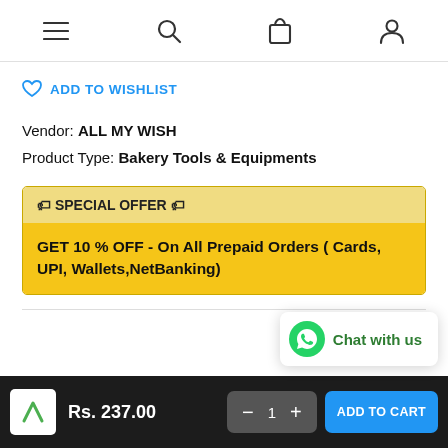Navigation bar with menu, search, cart, and account icons
♡ ADD TO WISHLIST
Vendor: ALL MY WISH
Product Type: Bakery Tools & Equipments
🏷 SPECIAL OFFER 🏷
GET 10 % OFF - On All Prepaid Orders ( Cards, UPI, Wallets,NetBanking)
[Figure (other): WhatsApp Chat with us button bubble in bottom right]
Rs. 237.00  —  1  ADD TO CART